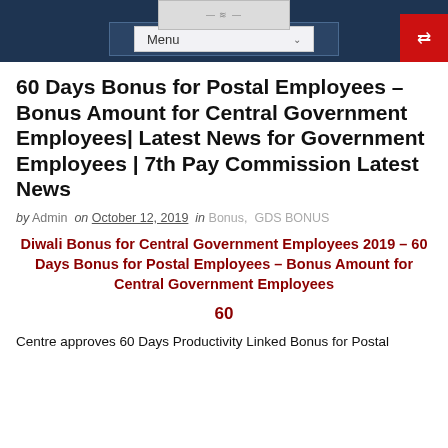Menu
60 Days Bonus for Postal Employees – Bonus Amount for Central Government Employees| Latest News for Government Employees | 7th Pay Commission Latest News
by Admin on October 12, 2019 in Bonus, GDS BONUS
Diwali Bonus for Central Government Employees 2019 – 60 Days Bonus for Postal Employees – Bonus Amount for Central Government Employees
60
Centre approves 60 Days Productivity Linked Bonus for Postal